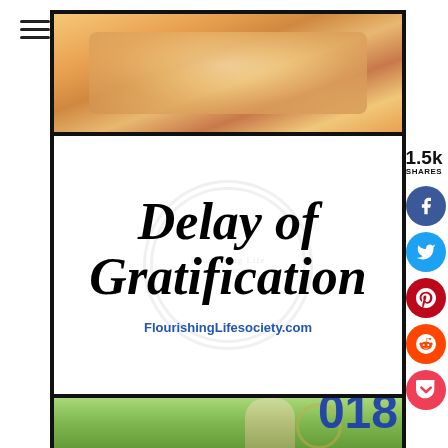[Figure (photo): Menu hamburger icon (three horizontal lines) in top left corner]
[Figure (photo): Food image showing sweets/cake with measuring tape and orange slices - top card image]
[Figure (illustration): White card with watermark seal, bold italic text reading 'Delay of Gratification' and URL 'FlourishingLifesociety.com']
[Figure (photo): Woman standing in green field - bottom card image, partially visible]
1.5k
SHARES